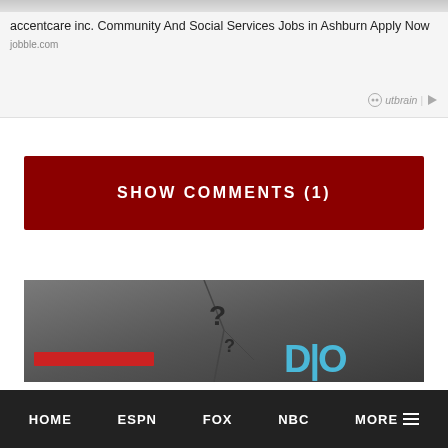[Figure (other): Advertisement banner: accentcare inc. Community And Social Services Jobs in Ashburn Apply Now, jobble.com, with Outbrain logo]
accentcare inc. Community And Social Services Jobs in Ashburn Apply Now
jobble.com
Outbrain
SHOW COMMENTS (1)
[Figure (photo): Dark gray textured banner image with question mark symbols and colored graphic elements (red bar and blue text/shapes)]
HOME   ESPN   FOX   NBC   MORE